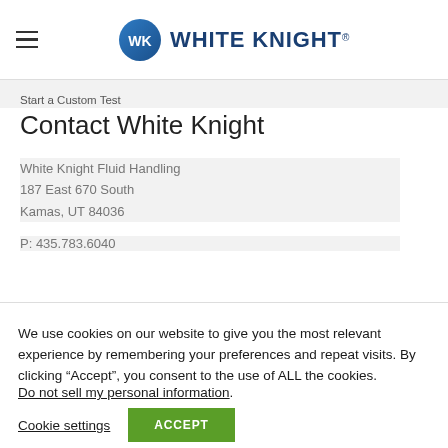White Knight (logo) — navigation header
Start a Custom Test
Contact White Knight
White Knight Fluid Handling
187 East 670 South
Kamas, UT 84036
P: 435.783.6040
We use cookies on our website to give you the most relevant experience by remembering your preferences and repeat visits. By clicking “Accept”, you consent to the use of ALL the cookies.
Do not sell my personal information.
Cookie settings   ACCEPT